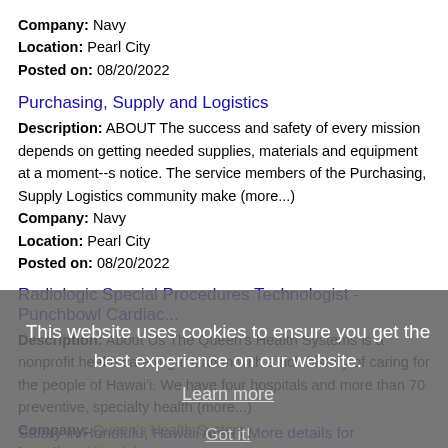Company: Navy
Location: Pearl City
Posted on: 08/20/2022
Purchasing, Supply and Logistics
Description: ABOUT The success and safety of every mission depends on getting needed supplies, materials and equipment at a moment--s notice. The service members of the Purchasing, Supply Logistics community make (more...)
Company: Navy
Location: Pearl City
Posted on: 08/20/2022
Radiologic Special Procedures Technologist - Punchbowl Cardiac...
Description: About Us The Queen's Health Systems is a nonprofit health care organization with a rich history of caring for the people of Hawai'i. We have four hospitals and more than 70 preventive, specialty health (more...)
Company: Queen's Health System
Location: Honolulu
Posted on: 08/20/2022
Salary in Honolulu, Hawaii Area | More details for